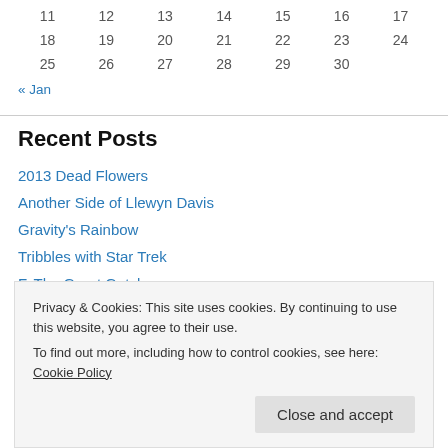| 11 | 12 | 13 | 14 | 15 | 16 | 17 |
| 18 | 19 | 20 | 21 | 22 | 23 | 24 |
| 25 | 26 | 27 | 28 | 29 | 30 |  |
« Jan
Recent Posts
2013 Dead Flowers
Another Side of Llewyn Davis
Gravity's Rainbow
Tribbles with Star Trek
F. The Great Gatsby
Privacy & Cookies: This site uses cookies. By continuing to use this website, you agree to their use.
To find out more, including how to control cookies, see here: Cookie Policy
Close and accept